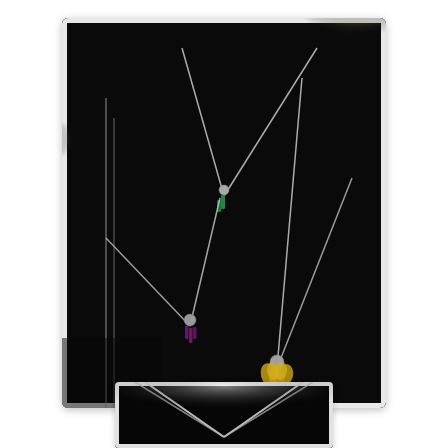[Figure (photo): Photo of three necklaces displayed on a black jewelry bust/stand. Each necklace has a silver chain and a small pendant: one with a green crystal drop, one with purple/dark red beaded drops, and one with a gold-colored leaf or floral charm. The background is very dark/black with bright light reflections on the silver chains.]
[Figure (photo): Partial close-up photo showing two silver necklace chains forming a V-shape against a black background with bright light reflections.]